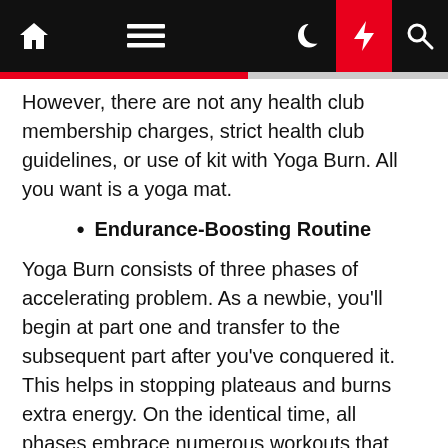Navigation bar with home, menu, dark mode, bolt, and search icons
However, there are not any health club membership charges, strict health club guidelines, or use of kit with Yoga Burn. All you want is a yoga mat.
Endurance-Boosting Routine
Yoga Burn consists of three phases of accelerating problem. As a newbie, you'll begin at part one and transfer to the subsequent part after you've conquered it. This helps in stopping plateaus and burns extra energy. On the identical time, all phases embrace numerous workouts that shuffle between the muscle teams. So, because the goal switches many instances throughout a single session, your physique will do its finest to adapt and construct power.